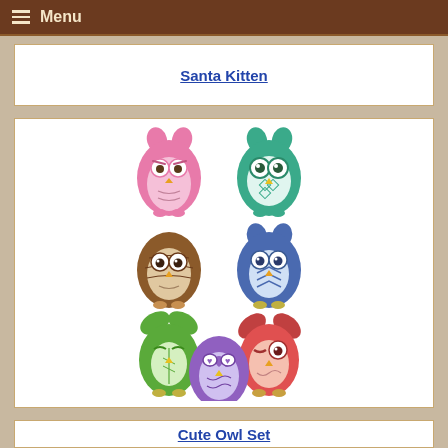Menu
Santa Kitten
[Figure (illustration): Seven cartoon owls arranged in a grid pattern: two on top row (pink and teal/green), two in middle row (brown and blue), two below that (green and red/coral), and one at the bottom center (purple). Each owl has distinctive colors, patterns, and expressions in an embroidery-style illustration.]
Cute Owl Set